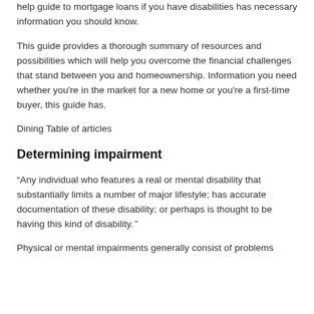help guide to mortgage loans if you have disabilities has necessary information you should know.
This guide provides a thorough summary of resources and possibilities which will help you overcome the financial challenges that stand between you and homeownership. Information you need whether you’re in the market for a new home or you’re a first-time buyer, this guide has.
Dining Table of articles
Determining impairment
“Any individual who features a real or mental disability that substantially limits a number of major lifestyle; has accurate documentation of these disability; or perhaps is thought to be having this kind of disability. ”
Physical or mental impairments generally consist of problems